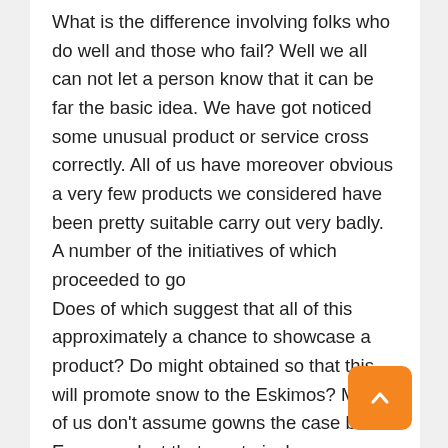What is the difference involving folks who do well and those who fail? Well we all can not let a person know that it can be far the basic idea. We have got noticed some unusual product or service cross correctly. All of us have moreover obvious a very few products we considered have been pretty suitable carry out very badly. A number of the initiatives of which proceeded to go Does of which suggest that all of this approximately a chance to showcase a product? Do might obtained so that this will promote snow to the Eskimos? Many of us don't assume gowns the case both. Every product that went nicely experienced a robust, though sometimes surprising, require. But we often notion that typically the failed merchandise did too. What exactly improved in to the variation?